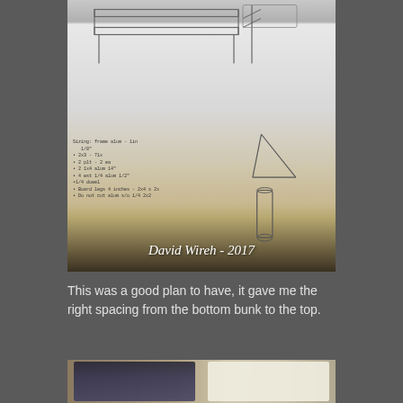[Figure (photo): Photo of hand-drawn sketches and notes on white paper showing bunk bed plans, with handwritten measurements and notes. Bottom portion shows granite/stone countertop. Watermark text reads 'David Wireh - 2017'.]
This was a good plan to have, it gave me the right spacing from the bottom bunk to the top.
[Figure (photo): Photo showing a bunk bed on the left side and engineering/plan sketches on the right side, on a granite surface.]